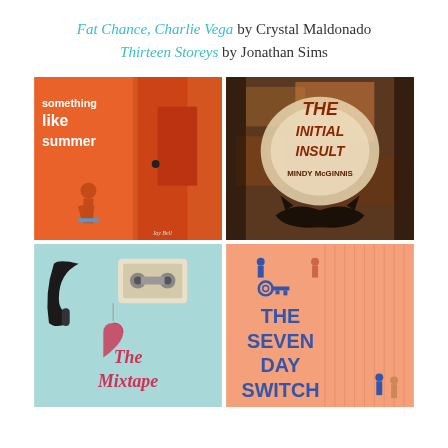Fat Chance, Charlie Vega by Crystal Maldonado
Thirteen Storeys by Jonathan Sims
[Figure (photo): Four book covers arranged in a 2x2 grid: 'Something Like Summer' by Jay Bell (orange illustrated cover), 'The Initial Insult' by Mindy McGinnis (dark textured horror cover), 'The Mixtape' (teal cover with cassette tape), 'The Seven Day Switch' (peach/salmon cover with illustrated people)]